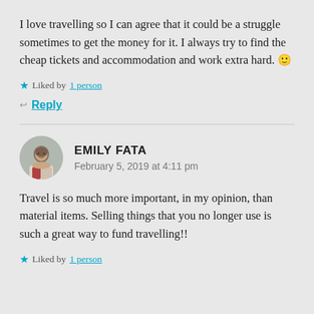I love travelling so I can agree that it could be a struggle sometimes to get the money for it. I always try to find the cheap tickets and accommodation and work extra hard. 🙂
★ Liked by 1 person
↩ Reply
EMILY FATA
February 5, 2019 at 4:11 pm
Travel is so much more important, in my opinion, than material items. Selling things that you no longer use is such a great way to fund travelling!!
★ Liked by 1 person